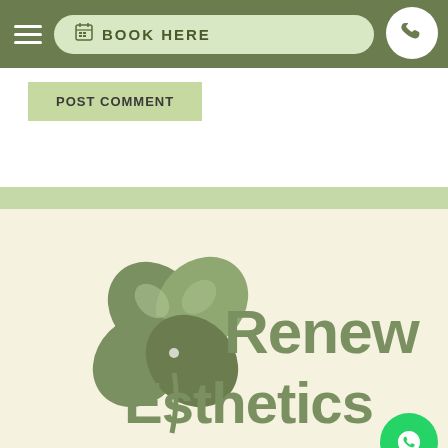[Figure (screenshot): Website navigation bar with hamburger menu, Book Here button, search icon, and phone icon on green background]
POST COMMENT
[Figure (logo): Renew Esthetics Medical Spa logo with four-leaf clover on cream background, and WhatsApp floating button]